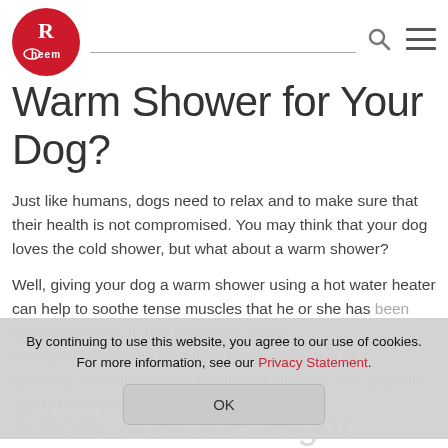Rheem
Warm Shower for Your Dog?
Just like humans, dogs need to relax and to make sure that their health is not compromised. You may think that your dog loves the cold shower, but what about a warm shower?
Well, giving your dog a warm shower using a hot water heater can help to soothe tense muscles that he or she has been carrying around. It also stimulates blood circulation and helps your furry baby stay active all day long. Who doesn't want that for their dog? Your dog will surely thank you for it.
By continuing to use this website, you agree to our use of cookies. For more information, see our Privacy Statement.
Know Just the Right Temperature